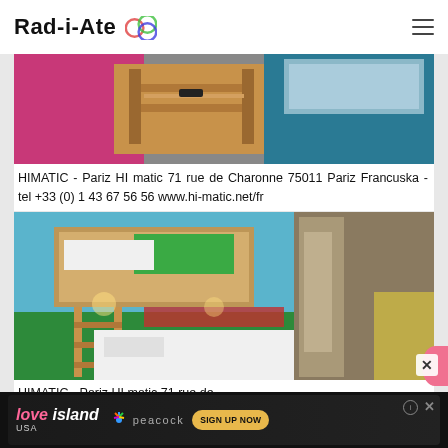Rad-i-Ate
[Figure (photo): Hotel room interior showing colorful walls (pink/magenta, teal) with wooden bunk bed furniture and a desk]
HIMATIC - Pariz HI matic 71 rue de Charonne 75011 Pariz Francuska - tel +33 (0) 1 43 67 56 56 www.hi-matic.net/fr
[Figure (photo): Hotel hostel room with colorful bunk beds (green, blue, red accent walls), ladder visible, bright room interior]
HIMATIC - Pariz HI matic 71 rue de
[Figure (other): Advertisement banner for Love Island USA on Peacock with Sign Up Now button]